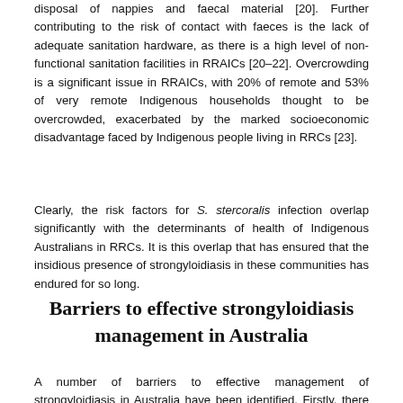disposal of nappies and faecal material [20]. Further contributing to the risk of contact with faeces is the lack of adequate sanitation hardware, as there is a high level of non-functional sanitation facilities in RRAICs [20–22]. Overcrowding is a significant issue in RRAICs, with 20% of remote and 53% of very remote Indigenous households thought to be overcrowded, exacerbated by the marked socioeconomic disadvantage faced by Indigenous people living in RRCs [23].
Clearly, the risk factors for S. stercoralis infection overlap significantly with the determinants of health of Indigenous Australians in RRCs. It is this overlap that has ensured that the insidious presence of strongyloidiasis in these communities has endured for so long.
Barriers to effective strongyloidiasis management in Australia
A number of barriers to effective management of strongyloidiasis in Australia have been identified. Firstly, there is sparse literature on the giving to community-transmitted helminths (CTIs)